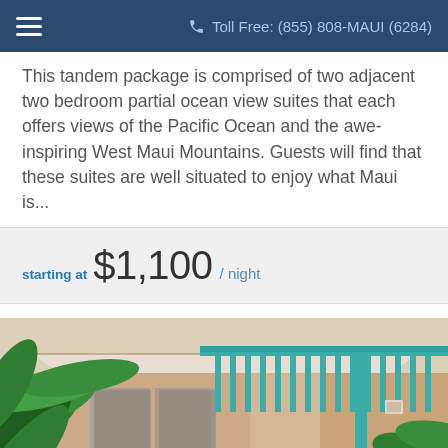Toll Free: (855) 808-MAUI (6284)
This tandem package is comprised of two adjacent two bedroom partial ocean view suites that each offers views of the Pacific Ocean and the awe-inspiring West Maui Mountains. Guests will find that these suites are well situated to enjoy what Maui is...
starting at $1,100 / night
[Figure (photo): Exterior view of a resort property with tropical plants/palm leaves in the foreground, a teal/green pergola structure, and beige/salmon colored building walls visible in the background.]